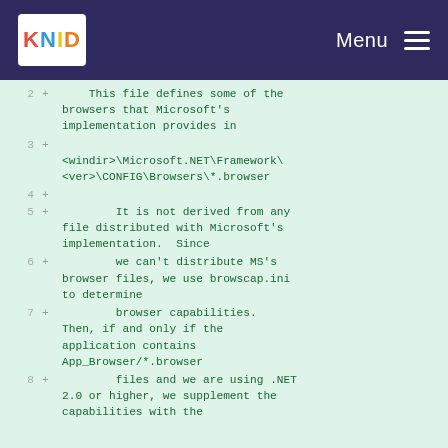KNID Menu
[Figure (screenshot): Code diff view showing lines 2-8 of a browser capabilities configuration file comment, with green plus markers and light green background, monospace font]